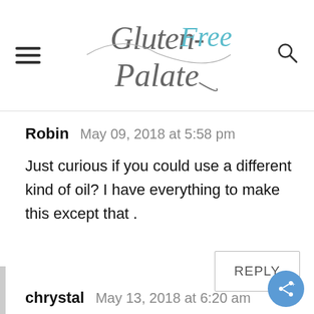Gluten-Free Palate
Robin   May 09, 2018 at 5:58 pm
Just curious if you could use a different kind of oil? I have everything to make this except that .
REPLY
chrystal   May 13, 2018 at 6:20 am